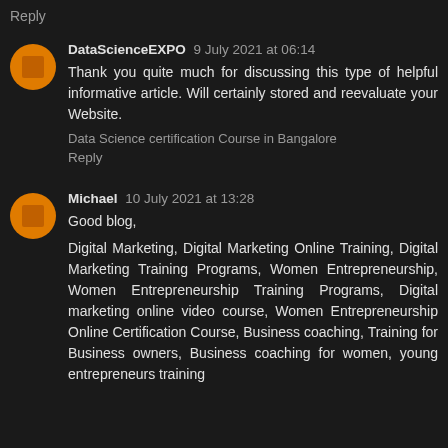Reply
DataScienceEXPO 9 July 2021 at 06:14
Thank you quite much for discussing this type of helpful informative article. Will certainly stored and reevaluate your Website.
Data Science certification Course in Bangalore
Reply
Michael 10 July 2021 at 13:28
Good blog,
Digital Marketing, Digital Marketing Online Training, Digital Marketing Training Programs, Women Entrepreneurship, Women Entrepreneurship Training Programs, Digital marketing online video course, Women Entrepreneurship Online Certification Course, Business coaching, Training for Business owners, Business coaching for women, young entrepreneurs training